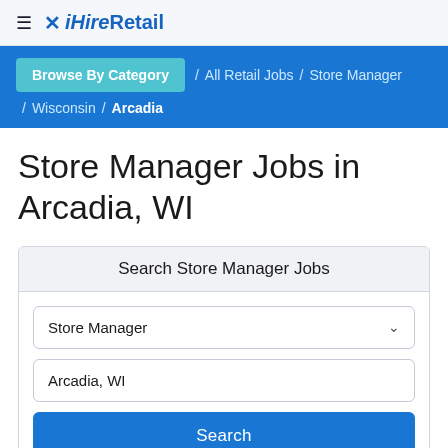iHireRetail
Browse By Category / All Retail Jobs / Store Manager / Wisconsin / Arcadia
Store Manager Jobs in Arcadia, WI
Search Store Manager Jobs
Store Manager
Arcadia, WI
Search